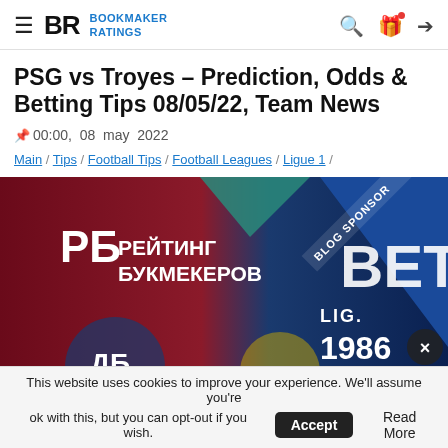BR BOOKMAKER RATINGS
PSG vs Troyes – Prediction, Odds & Betting Tips 08/05/22, Team News
00:00, 08 may 2022
Main / Tips / Football Tips / Football Leagues / Ligue 1 /
[Figure (photo): Рейтинг Букмекеров (Bookmaker Ratings) advertisement banner with BLOG SPONSOR BET LIC branding and 1986 text, with a close X button]
This website uses cookies to improve your experience. We'll assume you're ok with this, but you can opt-out if you wish. Accept Read More